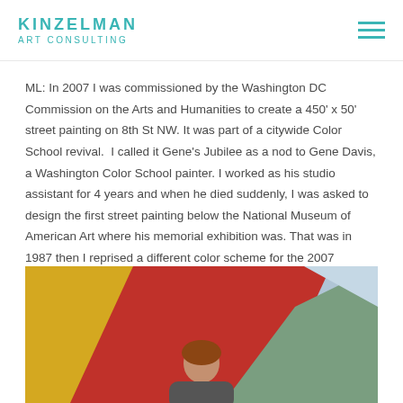KINZELMAN ART CONSULTING
ML: In 2007 I was commissioned by the Washington DC Commission on the Arts and Humanities to create a 450' x 50' street painting on 8th St NW. It was part of a citywide Color School revival.  I called it Gene's Jubilee as a nod to Gene Davis, a Washington Color School painter. I worked as his studio assistant for 4 years and when he died suddenly, I was asked to design the first street painting below the National Museum of American Art where his memorial exhibition was. That was in 1987 then I reprised a different color scheme for the 2007 painting.  You had to be on a rooftop or in a helicopter to see the whole thing.
[Figure (photo): A person standing in front of large geometric color blocks (yellow, red, blue-grey, green) that appear to be part of an art installation or street painting.]